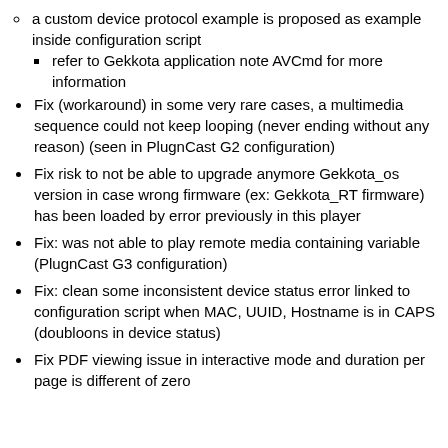a custom device protocol example is proposed as example inside configuration script
refer to Gekkota application note AVCmd for more information
Fix (workaround) in some very rare cases, a multimedia sequence could not keep looping (never ending without any reason) (seen in PlugnCast G2 configuration)
Fix risk to not be able to upgrade anymore Gekkota_os version in case wrong firmware (ex: Gekkota_RT firmware) has been loaded by error previously in this player
Fix: was not able to play remote media containing variable (PlugnCast G3 configuration)
Fix: clean some inconsistent device status error linked to configuration script when MAC, UUID, Hostname is in CAPS (doubloons in device status)
Fix PDF viewing issue in interactive mode and duration per page is different of zero